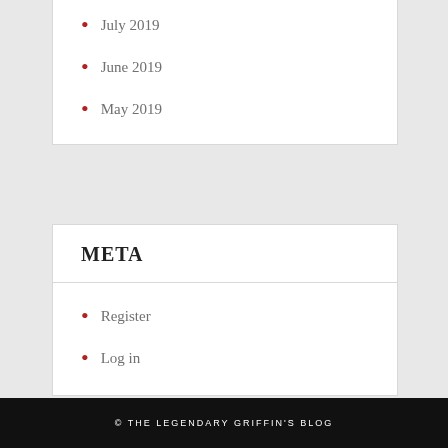July 2019
June 2019
May 2019
META
Register
Log in
© THE LEGENDARY GRIFFIN'S BLOG